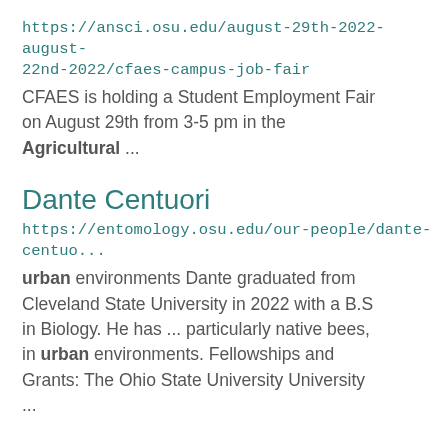https://ansci.osu.edu/august-29th-2022-august-22nd-2022/cfaes-campus-job-fair
CFAES is holding a Student Employment Fair on August 29th from 3-5 pm in the Agricultural ...
Dante Centuori
https://entomology.osu.edu/our-people/dante-centuo...
urban environments Dante graduated from Cleveland State University in 2022 with a B.S in Biology. He has ... particularly native bees, in urban environments. Fellowships and Grants: The Ohio State University University ...